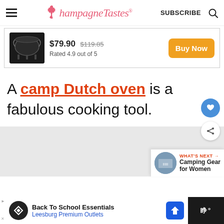ChampagneTastes® — SUBSCRIBE
[Figure (photo): Product image of a black camp Dutch oven with legs]
$79.90 $119.85 Rated 4.9 out of 5
Buy Now
A camp Dutch oven is a fabulous cooking tool.
[Figure (other): Floating action buttons: heart (save) and share]
[Figure (other): What's Next promo: Camping Gear for Women thumbnail]
Back To School Essentials Leesburg Premium Outlets